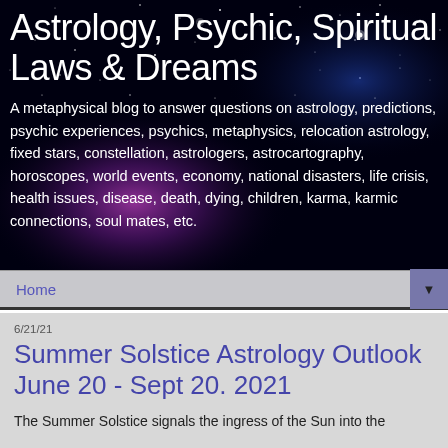[Figure (illustration): Starfield / night sky background with purple and blue nebula glow, serving as banner background for astrology blog]
Astrology, Psychic, Spiritual Laws & Dreams
A metaphysical blog to answer questions on astrology, predictions, psychic experiences, psychics, metaphysics, relocation astrology, fixed stars, constellation, astrologers, astrocartography, horoscopes, world events, economy, national disasters, life crisis, health issues, disease, death, dying, children, karma, karmic connections, soul mates, etc.
Home ▼
6/21/21
Summer Solstice Astrology Outlook June 20 - Sept 20. 2021
The Summer Solstice signals the ingress of the Sun into the